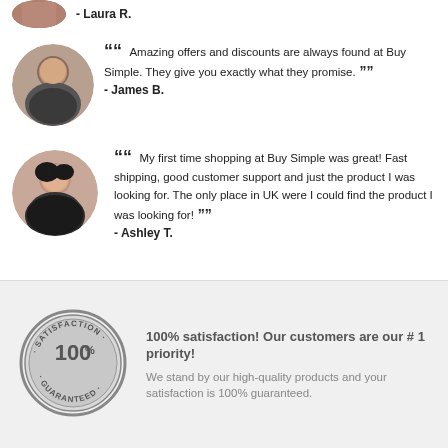- Laura R.
[Figure (photo): Circular portrait photo of a man smiling, wearing a plaid shirt]
““ Amazing offers and discounts are always found at Buy Simple. They give you exactly what they promise. ”” - James B.
[Figure (photo): Circular portrait photo of a young woman smiling]
““ My first time shopping at Buy Simple was great! Fast shipping, good customer support and just the product I was looking for. The only place in UK were I could find the product I was looking for! ”” - Ashley T.
[Figure (logo): 100% Satisfaction Guaranteed circular badge/seal in grey]
100% satisfaction! Our customers are our # 1 priority!
We stand by our high-quality products and your satisfaction is 100% guaranteed.